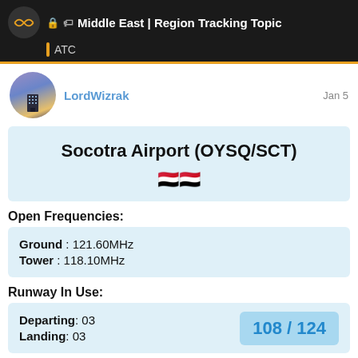Middle East | Region Tracking Topic — ATC
LordWizrak — Jan 5
Socotra Airport (OYSQ/SCT)
Open Frequencies:
Ground : 121.60MHz
Tower : 118.10MHz
Runway In Use:
Departing: 03
Landing: 03
108 / 124